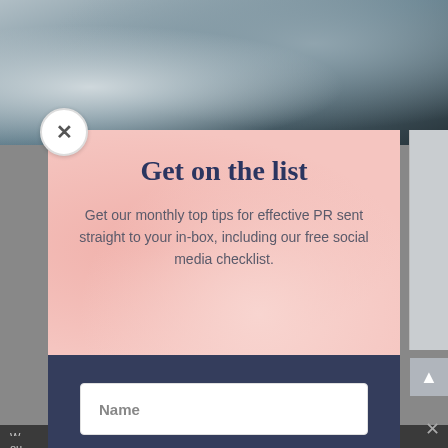[Figure (photo): Background photo showing people at a table with microphones, podcast or recording session setting, partially cropped.]
Get on the list
Get our monthly top tips for effective PR sent straight to your in-box, including our free social media checklist.
Name
Email
Subscribe